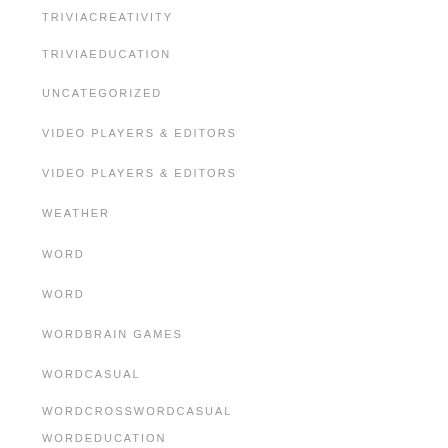TRIVIACREATIVITY
TRIVIAEDUCATION
UNCATEGORIZED
VIDEO PLAYERS & EDITORS
VIDEO PLAYERS & EDITORS
WEATHER
WORD
WORD
WORDBRAIN GAMES
WORDCASUAL
WORDCROSSWORDCASUAL
WORDEDUCATION